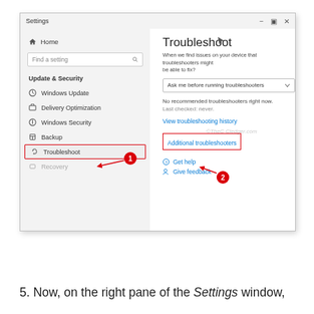[Figure (screenshot): Windows 10 Settings app screenshot showing the Troubleshoot page. Left sidebar shows Home, Find a setting search box, Update & Security section with Windows Update, Delivery Optimization, Windows Security, Backup, Troubleshoot (highlighted with red border, annotation circle 1 and arrow). Right pane shows Troubleshoot heading, description text, dropdown 'Ask me before running troubleshooters', 'No recommended troubleshooters right now', 'Last checked: never', 'View troubleshooting history' link, 'Additional troubleshooters' link (highlighted with red border, annotation circle 2 and arrow), Get help, Give feedback links.]
5. Now, on the right pane of the Settings window,